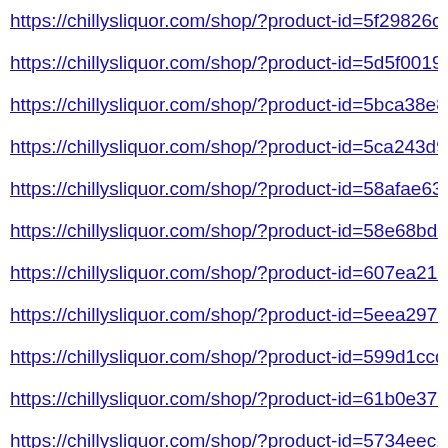https://chillysliquor.com/shop/?product-id=5f29826cbca…
https://chillysliquor.com/shop/?product-id=5d5f001945a…
https://chillysliquor.com/shop/?product-id=5bca38e8093…
https://chillysliquor.com/shop/?product-id=5ca243d9d80…
https://chillysliquor.com/shop/?product-id=58afae6301ff…
https://chillysliquor.com/shop/?product-id=58e68bd1ca9…
https://chillysliquor.com/shop/?product-id=607ea21a567…
https://chillysliquor.com/shop/?product-id=5eea297d207…
https://chillysliquor.com/shop/?product-id=599d1ccdbfc…
https://chillysliquor.com/shop/?product-id=61b0e377c70…
https://chillysliquor.com/shop/?product-id=5734eec1697…